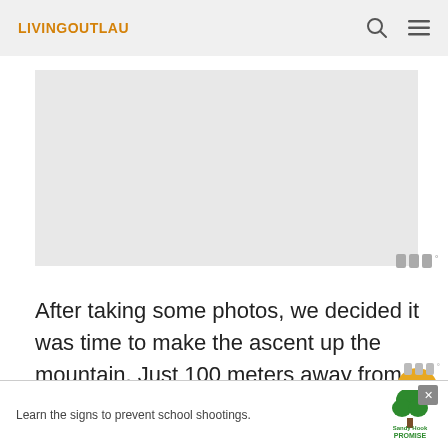LIVINGOUTLAU
[Figure (photo): Large placeholder image area with light grey background]
After taking some photos, we decided it was time to make the ascent up the mountain. Just 100 meters away from the temple, the paved path clears and you can s...ar
[Figure (other): Advertisement banner: 'Learn the signs to prevent school shootings.' with Sandy Hook Promise logo and tree graphic]